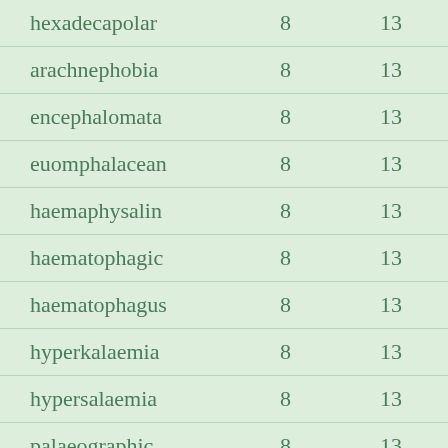| hexadecapolar | 8 | 13 |
| arachnephobia | 8 | 13 |
| encephalomata | 8 | 13 |
| euomphalacean | 8 | 13 |
| haemaphysalin | 8 | 13 |
| haematophagic | 8 | 13 |
| haematophagus | 8 | 13 |
| hyperkalaemia | 8 | 13 |
| hypersalaemia | 8 | 13 |
| palaeographic | 8 | 13 |